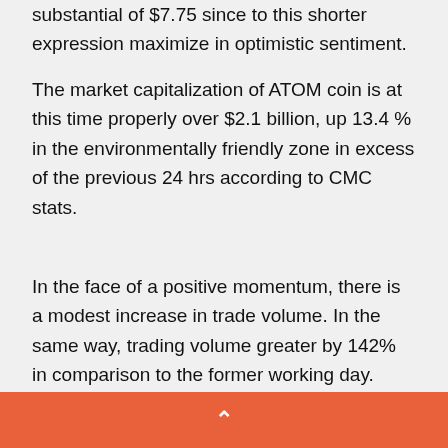substantial of $7.75 since to this shorter expression maximize in optimistic sentiment.
The market capitalization of ATOM coin is at this time properly over $2.1 billion, up 13.4 % in the environmentally friendly zone in excess of the previous 24 hrs according to CMC stats.
In the face of a positive momentum, there is a modest increase in trade volume. In the same way, trading volume greater by 142% in comparison to the former working day. However, the bulls however involve further quantity to breach the adverse pattern line.
Highlighted graphic from Exodus Wallet, char
^